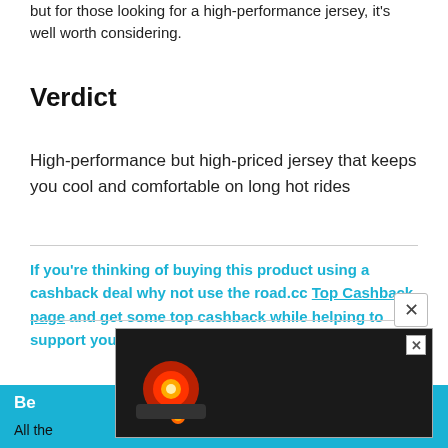but for those looking for a high-performance jersey, it's well worth considering.
Verdict
High-performance but high-priced jersey that keeps you cool and comfortable on long hot rides
If you're thinking of buying this product using a cashback deal why not use the road.cc Top Cashback page and get some top cashback while helping to support your favourite independent cycling website
[Figure (screenshot): Advertisement banner showing 'Ride More. Enjoy More' with cycling light product image]
Be
All the